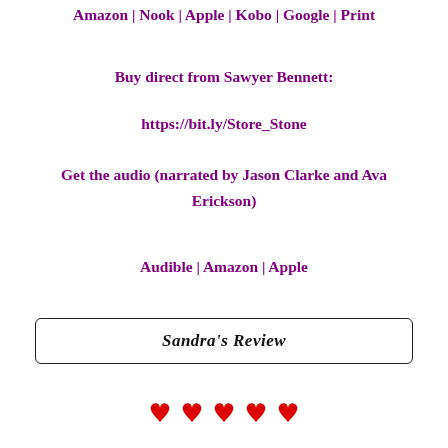Amazon | Nook | Apple | Kobo | Google | Print
Buy direct from Sawyer Bennett:
https://bit.ly/Store_Stone
Get the audio (narrated by Jason Clarke and Ava Erickson)
Audible | Amazon | Apple
Sandra's Review
[Figure (other): Five red heart symbols in a row]